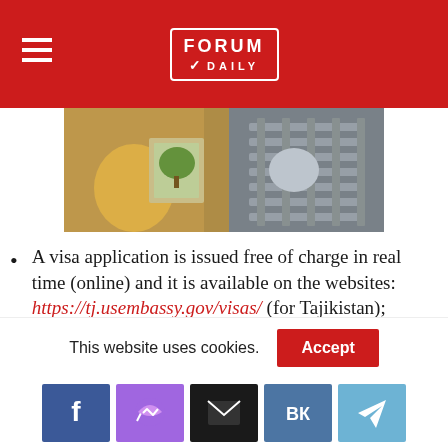Forum Daily
[Figure (photo): Collage image showing a cartoon character holding a framed money tree, next to a vintage car grille]
A visa application is issued free of charge in real time (online) and it is available on the websites: https://tj.usembassy.gov/visas/ (for Tajikistan); https://ru.usembassy.gov/visas/ (For Russia); https://ua.usembassy.gov/visas/ (for Ukraine); https://by.usembassy.gov/visas/ (for
This website uses cookies.
[Figure (other): Social sharing buttons bar: Facebook, Messenger, Email, VK, Telegram]